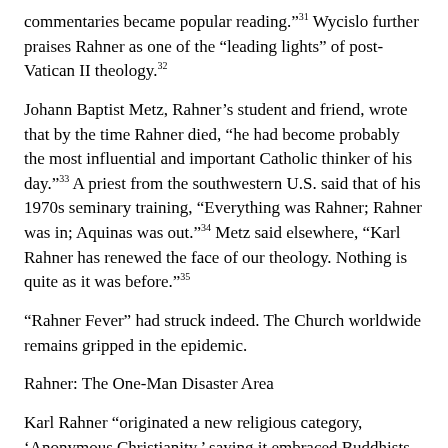commentaries became popular reading.”³¹ Wycislo further praises Rahner as one of the “leading lights” of post-Vatican II theology.³²
Johann Baptist Metz, Rahner’s student and friend, wrote that by the time Rahner died, “he had become probably the most influential and important Catholic thinker of his day.”³³ A priest from the southwestern U.S. said that of his 1970s seminary training, “Everything was Rahner; Rahner was in; Aquinas was out.”³´ Metz said elsewhere, “Karl Rahner has renewed the face of our theology. Nothing is quite as it was before.”³⁵
“Rahner Fever” had struck indeed. The Church worldwide remains gripped in the epidemic.
Rahner: The One-Man Disaster Area
Karl Rahner “originated a new religious category, ‘Anonymous Christianity,’ saying it embraced Buddhists, various other non- Christians and even atheists who are